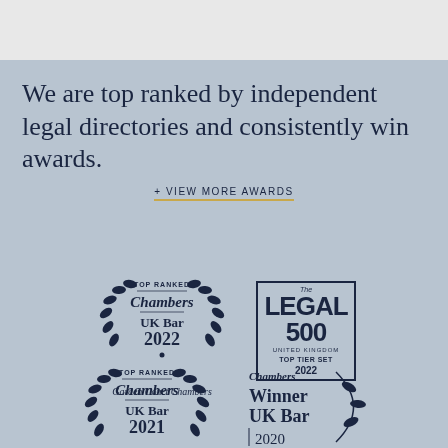We are top ranked by independent legal directories and consistently win awards.
+ VIEW MORE AWARDS
[Figure (logo): Chambers UK Bar 2022 Top Ranked wreath badge with text 'Garden Court Chambers']
[Figure (logo): The Legal 500 United Kingdom Top Tier Set 2022 badge in a rectangular border]
[Figure (logo): Chambers UK Bar 2021 Top Ranked wreath badge (partially visible)]
[Figure (logo): Chambers Winner UK Bar 2020 badge with leaf/laurel graphic (partially visible)]